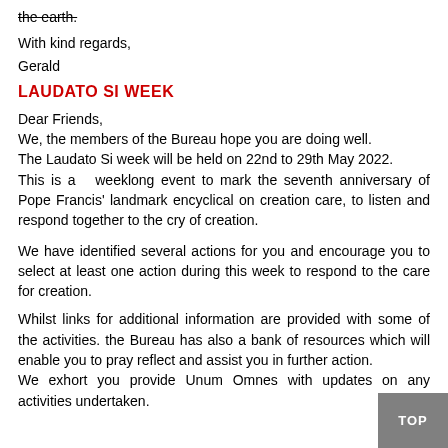the earth.
With kind regards,
Gerald
LAUDATO SI WEEK
Dear Friends,
We, the members of the Bureau hope you are doing well.
The Laudato Si week will be held on 22nd to 29th May 2022.
This is a  weeklong event to mark the seventh anniversary of Pope Francis' landmark encyclical on creation care, to listen and respond together to the cry of creation.
We have identified several actions for you and encourage you to select at least one action during this week to respond to the care for creation.
Whilst links for additional information are provided with some of the activities. the Bureau has also a bank of resources which will enable you to pray reflect and assist you in further action.
We exhort you provide Unum Omnes with updates on any activities undertaken.